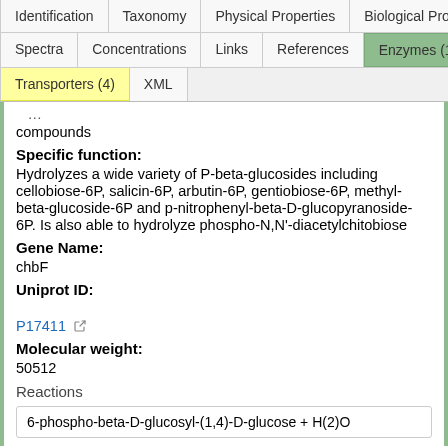Identification | Taxonomy | Physical Properties | Biological Properties | Spectra | Concentrations | Links | References | Enzymes (19) | Transporters (4) | XML
compounds
Specific function:
Hydrolyzes a wide variety of P-beta-glucosides including cellobiose-6P, salicin-6P, arbutin-6P, gentiobiose-6P, methyl- beta-glucoside-6P and p-nitrophenyl-beta-D-glucopyranoside-6P. Is also able to hydrolyze phospho-N,N'-diacetylchitobiose
Gene Name:
chbF
Uniprot ID:
P17411
Molecular weight:
50512
Reactions
6-phospho-beta-D-glucosyl-(1,4)-D-glucose + H(2)O